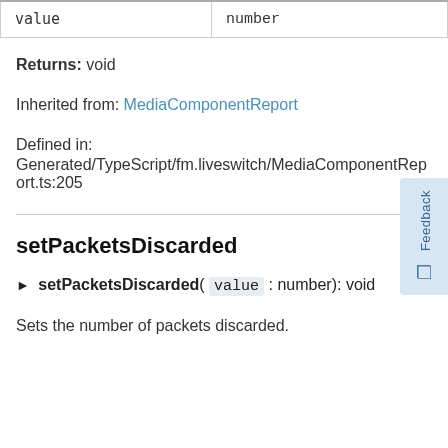| value | number |
| --- | --- |
Returns: void
Inherited from: MediaComponentReport
Defined in:
Generated/TypeScript/fm.liveswitch/MediaComponentReport.ts:205
setPacketsDiscarded
► setPacketsDiscarded( value : number): void
Sets the number of packets discarded.